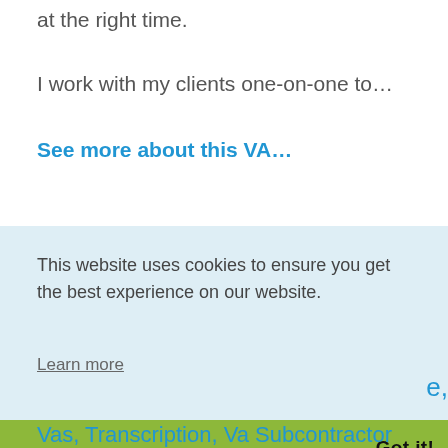at the right time.
I work with my clients one-on-one to…
See more about this VA…
This website uses cookies to ensure you get the best experience on our website.
Learn more
Got it!
e,
Vas, Transcription, Va Subcontractor